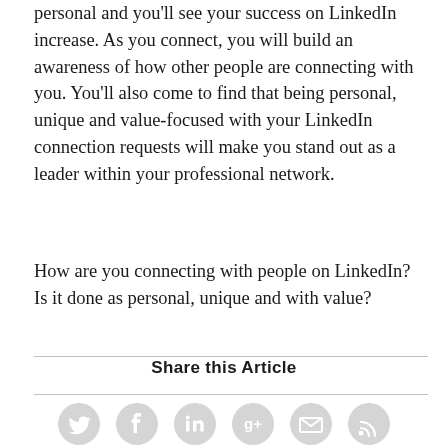personal and you'll see your success on LinkedIn increase. As you connect, you will build an awareness of how other people are connecting with you. You'll also come to find that being personal, unique and value-focused with your LinkedIn connection requests will make you stand out as a leader within your professional network.
How are you connecting with people on LinkedIn?
Is it done as personal, unique and with value?
Share this Article
[Figure (infographic): Six social media sharing icon circles in light grey: Twitter (bird), Facebook (f), LinkedIn (in), Google+ (g+), Email (envelope), RSS (signal bars)]